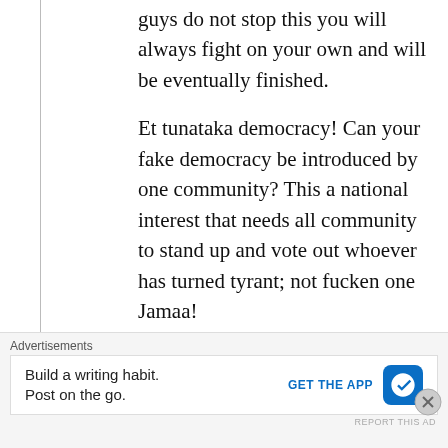guys do not stop this you will always fight on your own and will be eventually finished.
Et tunataka democracy! Can your fake democracy be introduced by one community? This a national interest that needs all community to stand up and vote out whoever has turned tyrant; not fucken one Jamaa!
In my opinion, Nuer war is like chasing air that you do not see and will never catch! Good luck
Advertisements
Build a writing habit. Post on the go.
GET THE APP